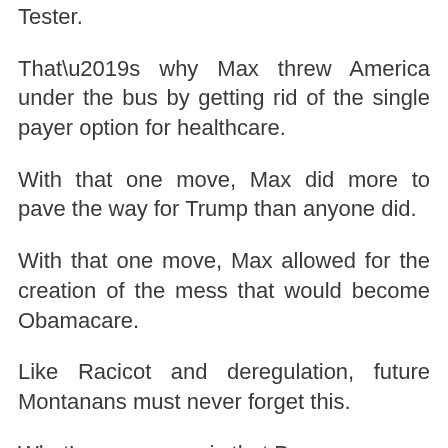Tester.
That’s why Max threw America under the bus by getting rid of the single payer option for healthcare.
With that one move, Max did more to pave the way for Trump than anyone did.
With that one move, Max allowed for the creation of the mess that would become Obamacare.
Like Racicot and deregulation, future Montanans must never forget this.
What’s even worse is that Baucus